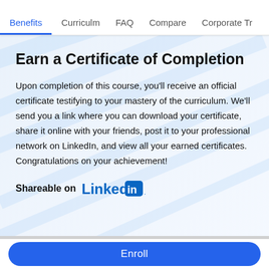Benefits | Curriculm | FAQ | Compare | Corporate Tr...
Earn a Certificate of Completion
Upon completion of this course, you'll receive an official certificate testifying to your mastery of the curriculum. We'll send you a link where you can download your certificate, share it online with your friends, post it to your professional network on LinkedIn, and view all your earned certificates. Congratulations on your achievement!
Shareable on LinkedIn
Enroll